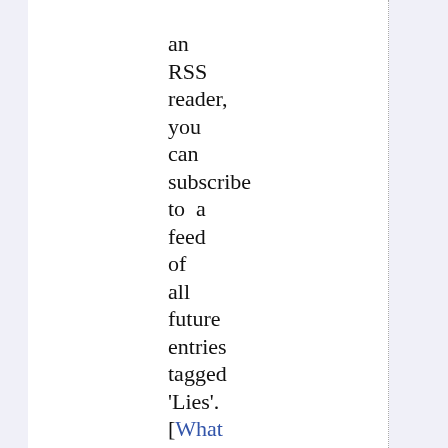an RSS reader, you can subscribe to a feed of all future entries tagged 'Lies'. [What is this?]
Subscribe to feed
Other Tags